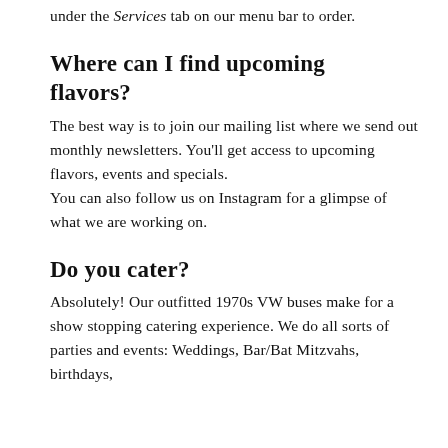under the Services tab on our menu bar to order.
Where can I find upcoming flavors?
The best way is to join our mailing list where we send out monthly newsletters. You'll get access to upcoming flavors, events and specials.
You can also follow us on Instagram for a glimpse of what we are working on.
Do you cater?
Absolutely! Our outfitted 1970s VW buses make for a show stopping catering experience. We do all sorts of parties and events: Weddings, Bar/Bat Mitzvahs, birthdays,